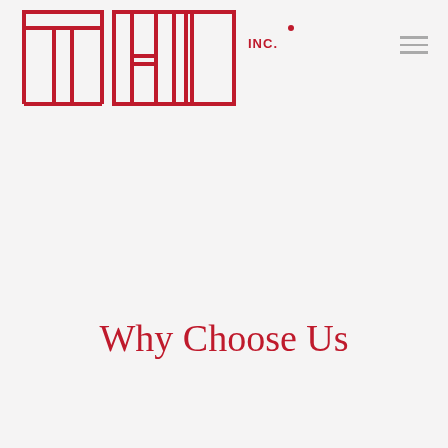[Figure (logo): THI INC. logo in red outline block letters on white background]
Why Choose Us